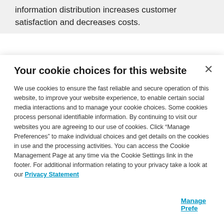information distribution increases customer satisfaction and decreases costs.
Your cookie choices for this website
We use cookies to ensure the fast reliable and secure operation of this website, to improve your website experience, to enable certain social media interactions and to manage your cookie choices. Some cookies process personal identifiable information. By continuing to visit our websites you are agreeing to our use of cookies. Click “Manage Preferences” to make individual choices and get details on the cookies in use and the processing activities. You can access the Cookie Management Page at any time via the Cookie Settings link in the footer. For additional information relating to your privacy take a look at our Privacy Statement
Manage Prefe...